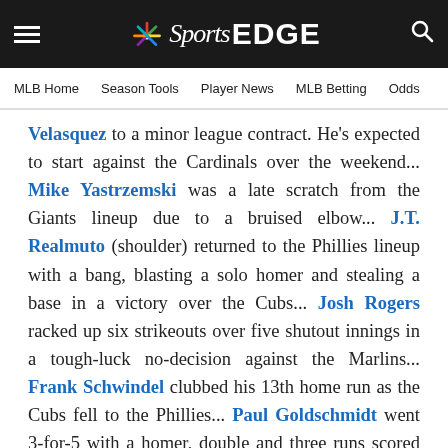NBC Sports EDGE — MLB Home | Season Tools | Player News | MLB Betting | Odds
Velasquez to a minor league contract. He's expected to start against the Cardinals over the weekend... Mike Yastrzemski was a late scratch from the Giants lineup due to a bruised elbow... J.T. Realmuto (shoulder) returned to the Phillies lineup with a bang, blasting a solo homer and stealing a base in a victory over the Cubs... Josh Rogers racked up six strikeouts over five shutout innings in a tough-luck no-decision against the Marlins... Frank Schwindel clubbed his 13th home run as the Cubs fell to the Phillies... Paul Goldschmidt went 3-for-5 with a homer, double and three runs scored as the Cardinals topped the Mets... Antonio Senzatela logged his sixth straight quality start in a no-decision against the Braves... Julio Urias picked up his MLB-leading 18th victory against the